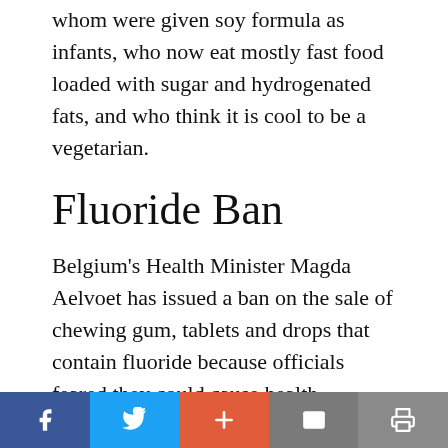whom were given soy formula as infants, who now eat mostly fast food loaded with sugar and hydrogenated fats, and who think it is cool to be a vegetarian.
Fluoride Ban
Belgium's Health Minister Magda Aelvoet has issued a ban on the sale of chewing gum, tablets and drops that contain fluoride because officials feared they could cause health problems in people who use them to excess. The ban stops short of removing fluoride from toothpaste although such a proposal is being discussed. The Health